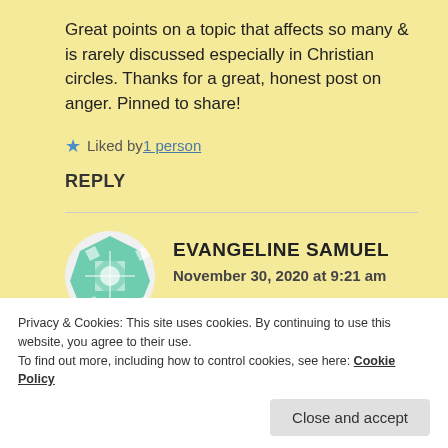Great points on a topic that affects so many & is rarely discussed especially in Christian circles. Thanks for a great, honest post on anger. Pinned to share!
Liked by 1 person
REPLY
EVANGELINE SAMUEL
November 30, 2020 at 9:21 am
Privacy & Cookies: This site uses cookies. By continuing to use this website, you agree to their use. To find out more, including how to control cookies, see here: Cookie Policy
Close and accept
same way too had it not been for my husband – it